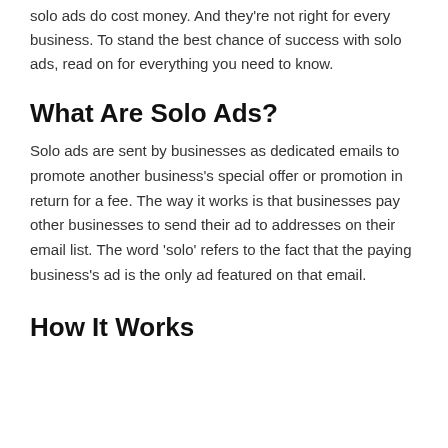solo ads do cost money. And they're not right for every business. To stand the best chance of success with solo ads, read on for everything you need to know.
What Are Solo Ads?
Solo ads are sent by businesses as dedicated emails to promote another business's special offer or promotion in return for a fee. The way it works is that businesses pay other businesses to send their ad to addresses on their email list. The word 'solo' refers to the fact that the paying business's ad is the only ad featured on that email.
How It Works